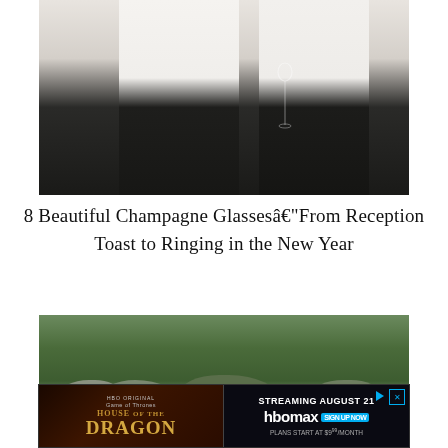[Figure (photo): Two people in white shirts and black pants holding champagne glasses, torsos only visible against a light background]
8 Beautiful Champagne Glassesâ€"From Reception Toast to Ringing in the New Year
[Figure (photo): Aerial or distant view of a rocky, green mountain landscape with dense vegetation]
[Figure (other): HBO Max advertisement for House of the Dragon - Streaming August 21, plans start at $9.99/month, Sign Up Now]